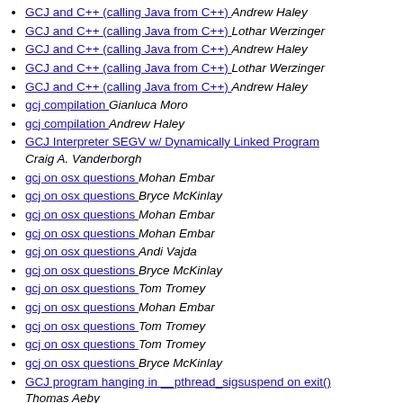GCJ and C++ (calling Java from C++)  Andrew Haley
GCJ and C++ (calling Java from C++)  Lothar Werzinger
GCJ and C++ (calling Java from C++)  Andrew Haley
GCJ and C++ (calling Java from C++)  Lothar Werzinger
GCJ and C++ (calling Java from C++)  Andrew Haley
gcj compilation  Gianluca Moro
gcj compilation  Andrew Haley
GCJ Interpreter SEGV w/ Dynamically Linked Program  Craig A. Vanderborgh
gcj on osx questions  Mohan Embar
gcj on osx questions  Bryce McKinlay
gcj on osx questions  Mohan Embar
gcj on osx questions  Mohan Embar
gcj on osx questions  Andi Vajda
gcj on osx questions  Bryce McKinlay
gcj on osx questions  Tom Tromey
gcj on osx questions  Mohan Embar
gcj on osx questions  Tom Tromey
gcj on osx questions  Tom Tromey
gcj on osx questions  Bryce McKinlay
GCJ program hanging in __pthread_sigsuspend on exit()  Thomas Aeby
GCJ program hanging in __pthread_sigsuspend on exit()  Andrew Haley
GCJ program hanging in __pthread_sigsuspend on exit()